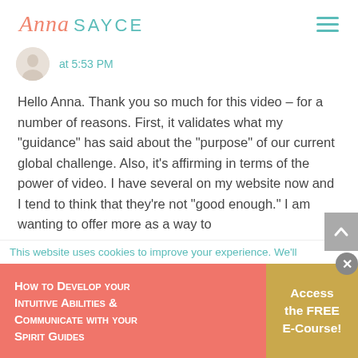Anna SAYCE
at 5:53 PM
Hello Anna. Thank you so much for this video – for a number of reasons. First, it validates what my "guidance" has said about the "purpose" of our current global challenge. Also, it's affirming in terms of the power of video. I have several on my website now and I tend to think that they're not "good enough." I am wanting to offer more as a way to
This website uses cookies to improve your experience. We'll
How to Develop your Intuitive Abilities & Communicate with your Spirit Guides
Access the FREE E-Course!